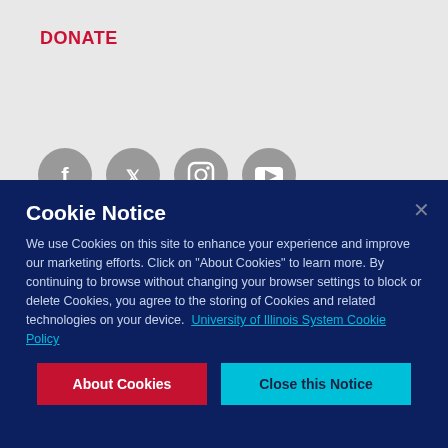DONATE
[Figure (illustration): Four circular grey social media icons: Facebook, Twitter, Instagram, YouTube]
Contact
Cookie Notice
We use Cookies on this site to enhance your experience and improve our marketing efforts. Click on "About Cookies" to learn more. By continuing to browse without changing your browser settings to block or delete Cookies, you agree to the storing of Cookies and related technologies on your device.  University of Illinois System Cookie Policy
About Cookies
Close this Notice